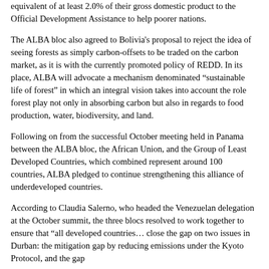equivalent of at least 2.0% of their gross domestic product to the Official Development Assistance to help poorer nations.
The ALBA bloc also agreed to Bolivia's proposal to reject the idea of seeing forests as simply carbon-offsets to be traded on the carbon market, as it is with the currently promoted policy of REDD. In its place, ALBA will advocate a mechanism denominated “sustainable life of forest” in which an integral vision takes into account the role forest play not only in absorbing carbon but also in regards to food production, water, biodiversity, and land.
Following on from the successful October meeting held in Panama between the ALBA bloc, the African Union, and the Group of Least Developed Countries, which combined represent around 100 countries, ALBA pledged to continue strengthening this alliance of underdeveloped countries.
According to Claudia Salerno, who headed the Venezuelan delegation at the October summit, the three blocs resolved to work together to ensure that “all developed countries… close the gap on two issues in Durban: the mitigation gap by reducing emissions under the Kyoto Protocol, and the gap